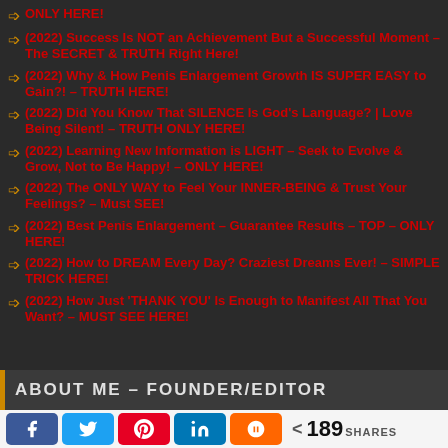ONLY HERE!
(2022) Success Is NOT an Achievement But a Successful Moment – The SECRET & TRUTH Right Here!
(2022) Why & How Penis Enlargement Growth IS SUPER EASY to Gain?! – TRUTH HERE!
(2022) Did You Know That SILENCE Is God's Language? | Love Being Silent! – TRUTH ONLY HERE!
(2022) Learning New Information is LIGHT – Seek to Evolve & Grow, Not to Be Happy! – ONLY HERE!
(2022) The ONLY WAY to Feel Your INNER-BEING & Trust Your Feelings? – Must SEE!
(2022) Best Penis Enlargement – Guarantee Results – TOP – ONLY HERE!
(2022) How to DREAM Every Day? Craziest Dreams Ever! – SIMPLE TRICK HERE!
(2022) How Just 'THANK YOU' Is Enough to Manifest All That You Want? – MUST SEE HERE!
ABOUT ME – FOUNDER/EDITOR
< 189 SHARES